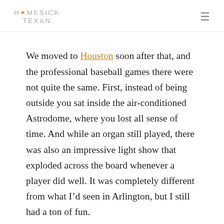HOMESICK TEXAN
We moved to Houston soon after that, and the professional baseball games there were not quite the same. First, instead of being outside you sat inside the air-conditioned Astrodome, where you lost all sense of time. And while an organ still played, there was also an impressive light show that exploded across the board whenever a player did well. It was completely different from what I’d seen in Arlington, but I still had a ton of fun.